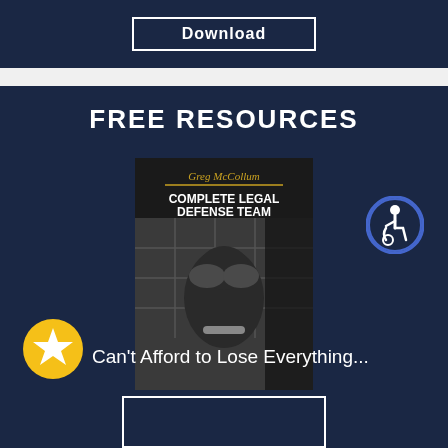Download
FREE RESOURCES
[Figure (illustration): Book cover: Greg McCollum Complete Legal Defense Team, showing a man in handcuffs with head in hands]
[Figure (logo): Accessibility icon — person in wheelchair inside blue circle]
[Figure (logo): Yellow star badge/icon]
Can't Afford to Lose Everything...